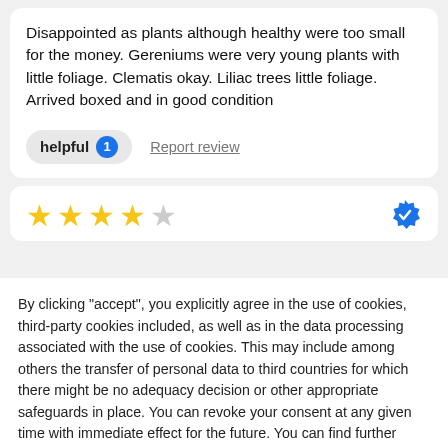Disappointed as plants although healthy were too small for the money. Gereniums were very young plants with little foliage. Clematis okay. Liliac trees little foliage. Arrived boxed and in good condition
helpful 1   Report review
[Figure (other): 4-star rating row (4 filled gold stars, 1 empty gray star) with a blue verified badge icon on the right]
By clicking "accept", you explicitly agree in the use of cookies, third-party cookies included, as well as in the data processing associated with the use of cookies. This may include among others the transfer of personal data to third countries for which there might be no adequacy decision or other appropriate safeguards in place. You can revoke your consent at any given time with immediate effect for the future. You can find further information on the data processing purposes, opt-out options, your rights, and the risks of data transfers to third countries here.
ACCEPT